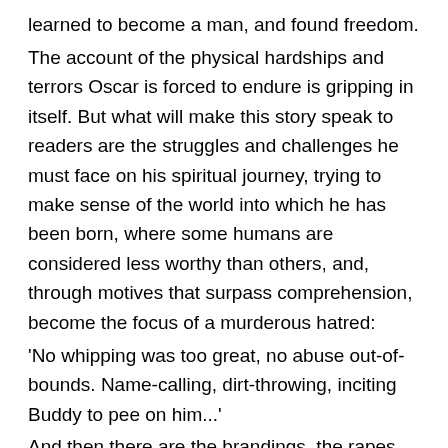learned to become a man, and found freedom. The account of the physical hardships and terrors Oscar is forced to endure is gripping in itself. But what will make this story speak to readers are the struggles and challenges he must face on his spiritual journey, trying to make sense of the world into which he has been born, where some humans are considered less worthy than others, and, through motives that surpass comprehension, become the focus of a murderous hatred: 'No whipping was too great, no abuse out-of-bounds. Name-calling, dirt-throwing, inciting Buddy to pee on him...' And then there are the brandings, the rapes, the lynchings. In 'The Seven Year Dress', Mahurin addressed the subject of dehumanisation as her protagonist, Helen, a prisoner in